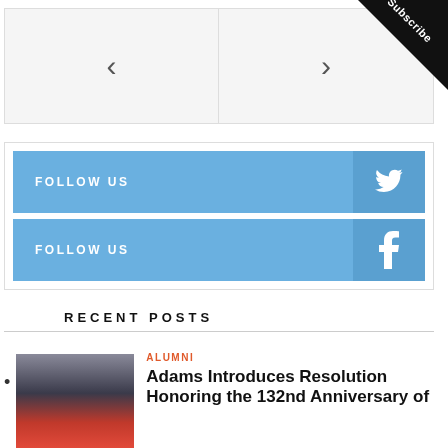[Figure (screenshot): Navigation arrows section with left and right chevrons on light gray background]
[Figure (screenshot): Social media follow buttons: Twitter (blue with bird icon) and Facebook (blue with f icon)]
RECENT POSTS
[Figure (photo): Portrait photo of a woman in front of an American flag, wearing a striped hat]
ALUMNI
Adams Introduces Resolution Honoring the 132nd Anniversary of